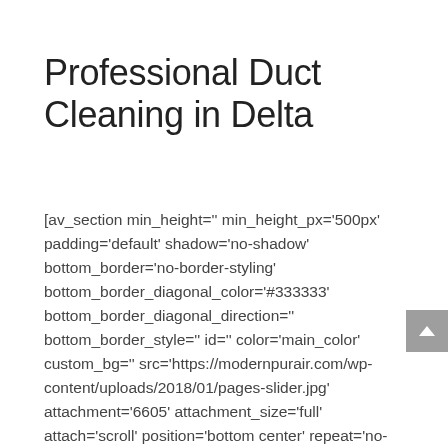Professional Duct Cleaning in Delta
[av_section min_height='' min_height_px='500px' padding='default' shadow='no-shadow' bottom_border='no-border-styling' bottom_border_diagonal_color='#333333' bottom_border_diagonal_direction='' bottom_border_style='' id='' color='main_color' custom_bg='' src='https://modernpurair.com/wp-content/uploads/2018/01/pages-slider.jpg' attachment='6605' attachment_size='full' attach='scroll' position='bottom center' repeat='no-repeat' video='' video_ratio='16:9' overlay_opacity='0.5' overlay_color='' overlay_pattern='' overlay_custom_pattern='' custom_class='page-ttl inner-page-header']